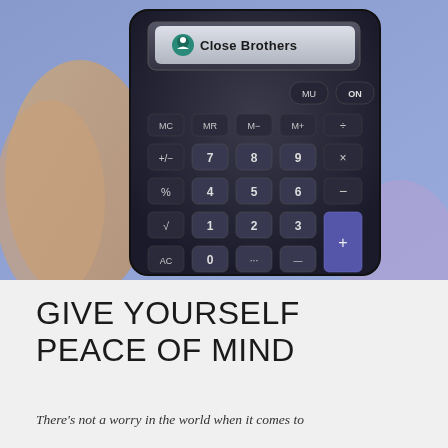[Figure (photo): A hand holding a Close Brothers branded calculator against a blue/purple background. The calculator shows buttons including MC, MR, M-, M+, divide, MU, ON, +/-, 7, 8, 9, multiply, %, 4, 5, 6, minus, square root, 1, 2, 3, plus button (highlighted purple), AC, 0, decimal, equals. The Close Brothers logo is displayed on the calculator screen area at the top.]
GIVE YOURSELF PEACE OF MIND
There's not a worry in the world when it comes to